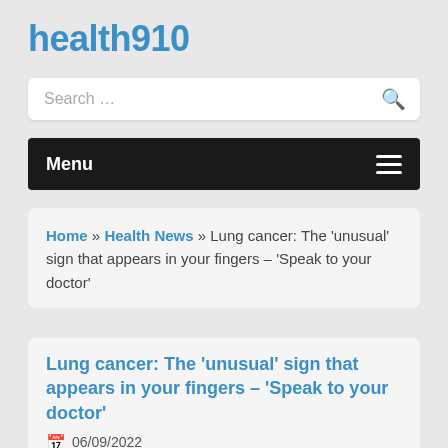health910
Search …
Menu
Home » Health News » Lung cancer: The 'unusual' sign that appears in your fingers – 'Speak to your doctor'
Lung cancer: The 'unusual' sign that appears in your fingers – 'Speak to your doctor'
06/09/2022